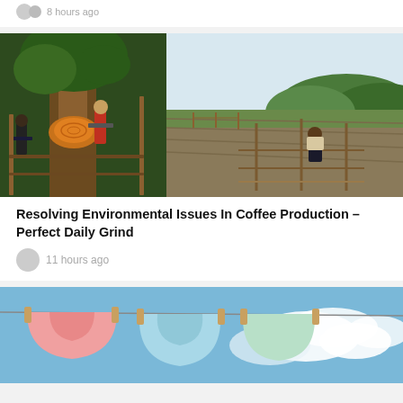8 hours ago
[Figure (photo): Two photos side by side: left shows workers cutting a tree in a lush green forest; right shows a man sitting on a wooden frame in a field with mountains in background]
Resolving Environmental Issues In Coffee Production – Perfect Daily Grind
11 hours ago
[Figure (photo): Clothes hanging on a clothesline against a blue sky with clouds, including pink and light blue undergarments with wooden pegs]